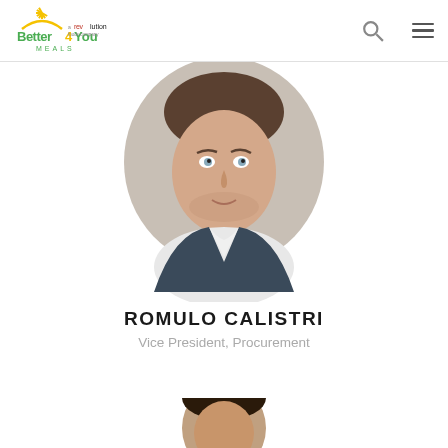[Figure (logo): Better 4 You Meals logo with a Revolution Foods company tagline]
[Figure (photo): Headshot of Romulo Calistri, a middle-aged man in a dark blazer and white shirt, photo cropped in a circular/diamond shape]
ROMULO CALISTRI
Vice President, Procurement
[Figure (photo): Partial headshot of another person visible at bottom of page]